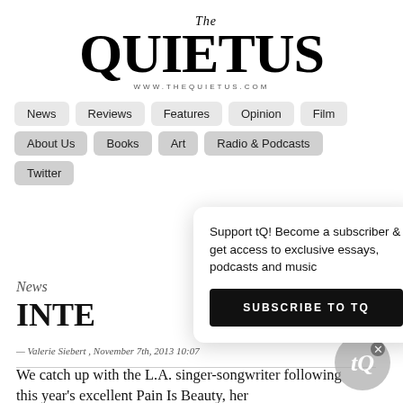The Quietus — www.thequietus.com
News
Reviews
Features
Opinion
Film
About Us
Books
Art
Radio & Podcasts
Twitter
Support tQ! Become a subscriber & get access to exclusive essays, podcasts and music
SUBSCRIBE TO TQ
News
INTE
— Valerie Siebert , November 7th, 2013 10:07
We catch up with the L.A. singer-songwriter following this year's excellent Pain Is Beauty, her